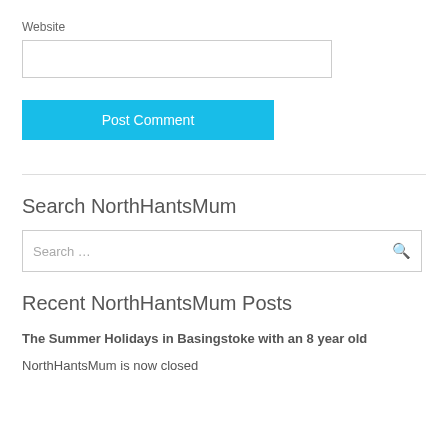Website
[input box]
Post Comment
Search NorthHantsMum
Search …
Recent NorthHantsMum Posts
The Summer Holidays in Basingstoke with an 8 year old
NorthHantsMum is now closed